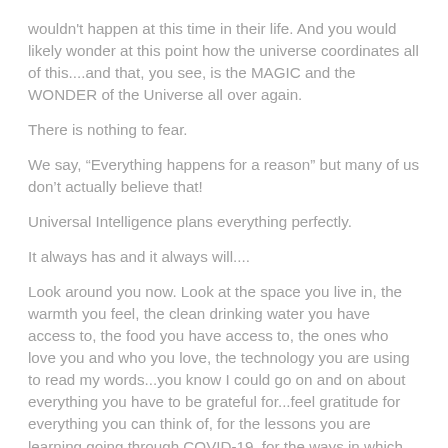wouldn't happen at this time in their life. And you would likely wonder at this point how the universe coordinates all of this....and that, you see, is the MAGIC and the WONDER of the Universe all over again.
There is nothing to fear.
We say, "Everything happens for a reason" but many of us don't actually believe that!
Universal Intelligence plans everything perfectly.
It always has and it always will....
Look around you now. Look at the space you live in, the warmth you feel, the clean drinking water you have access to, the food you have access to, the ones who love you and who you love, the technology you are using to read my words...you know I could go on and on about everything you have to be grateful for...feel gratitude for everything you can think of, for the lessons you are learning going through COVID-19, for the ways in which